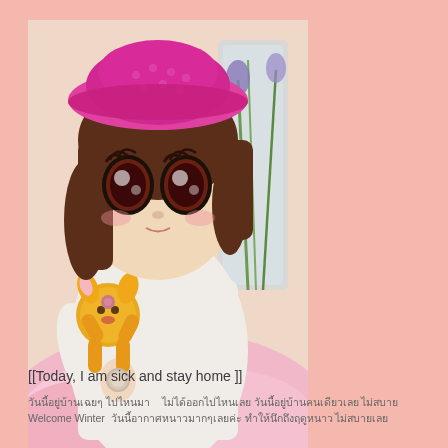[Figure (photo): A Blythe doll with large eyes wearing a pink crocheted hat and white outfit, holding a yellow crocheted animal toy. Pink fluffy blanket in foreground, glass vase with flowers in background.]
[[Today, I am sick and stay home ]]
วันนี้อยู่บ้านเฉยๆ ไปไหนมา ไม่ได้ออกไปไหนเลย วันนี้อยู่บ้านคนเดียวเลย ไม่สบาย Welcome Winter วันนี้อากาศหนาวมากๆเลยค่ะ ทำให้นึกถึงฤดูหนาว ไม่สบายเลย